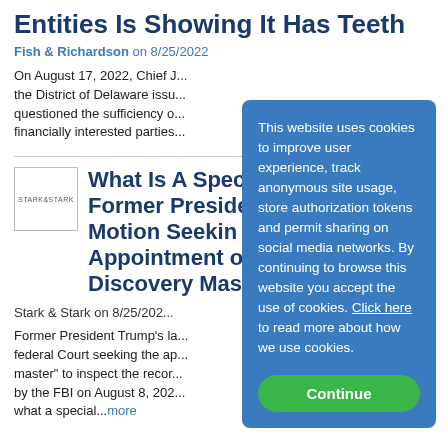Entities Is Showing It Has Teeth
Fish & Richardson on 8/25/2022
On August 17, 2022, Chief J... the District of Delaware issu... questioned the sufficiency o... financially interested parties...
What Is A Special Master? Former President Files Motion Seeking Appointment of a Discovery Master
Stark & Stark on 8/25/2022
Former President Trump's la... federal Court seeking the ap... master" to inspect the recor... by the FBI on August 8, 202... what a special...more
This website uses cookies to improve user experience, track anonymous site usage, store authorization tokens and permit sharing on social media networks. By continuing to browse this website you accept the use of cookies. Click here to read more about how we use cookies.